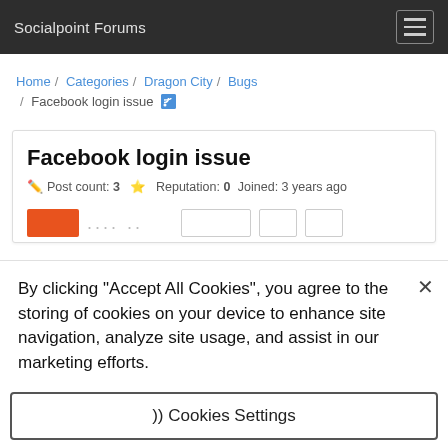Socialpoint Forums
Home / Categories / Dragon City / Bugs / Facebook login issue
Facebook login issue
Post count: 3  Reputation: 0  Joined: 3 years ago
By clicking "Accept All Cookies", you agree to the storing of cookies on your device to enhance site navigation, analyze site usage, and assist in our marketing efforts.
}) Cookies Settings